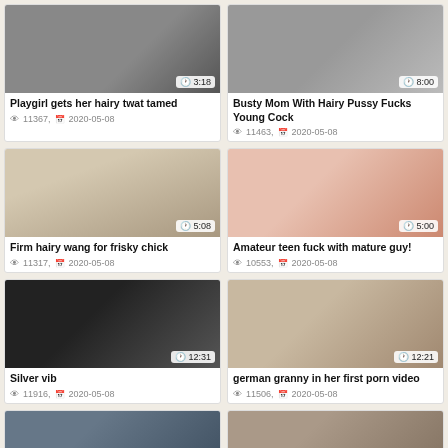[Figure (screenshot): Video thumbnail top-left, dark/grainy, duration 3:18 partially visible]
Playgirl gets her hairy twat tamed
👁 11367, 📅 2020-05-08
[Figure (screenshot): Video thumbnail top-right, duration 8:00 partially visible]
Busty Mom With Hairy Pussy Fucks Young Cock
👁 11463, 📅 2020-05-08
[Figure (screenshot): Video thumbnail row2 left, two people, duration 5:08]
Firm hairy wang for frisky chick
👁 11317, 📅 2020-05-08
[Figure (screenshot): Video thumbnail row2 right, young girl in t-shirt, duration 5:00]
Amateur teen fuck with mature guy!
👁 10553, 📅 2020-05-08
[Figure (screenshot): Video thumbnail row3 left, dark closeup, duration 12:31]
Silver vib
👁 11916, 📅 2020-05-08
[Figure (screenshot): Video thumbnail row3 right, two people, duration 12:21]
german granny in her first porn video
👁 11506, 📅 2020-05-08
[Figure (screenshot): Video thumbnail row4 left, partially visible]
[Figure (screenshot): Video thumbnail row4 right, partially visible]